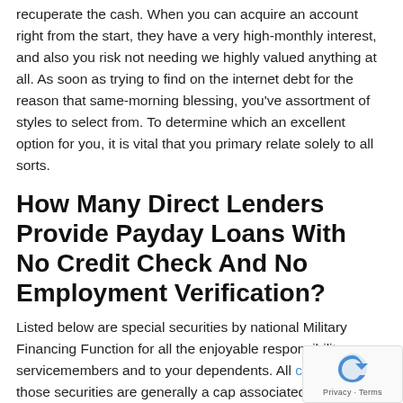recuperate the cash. When you can acquire an account right from the start, they have a very high-monthly interest, and also you risk not needing we highly valued anything at all. As soon as trying to find on the internet debt for the reason that same-morning blessing, you've assortment of styles to select from. To determine which an excellent option for you, it is vital that you primary relate solely to all sorts.
How Many Direct Lenders Provide Payday Loans With No Credit Check And No Employment Verification?
Listed below are special securities by national Military Financing Function for all the enjoyable responsibility servicemembers and to your dependents. All creditscoreff those securities are generally a cap associated with thirty six percent with the Military services Annual percentage rate to become better to